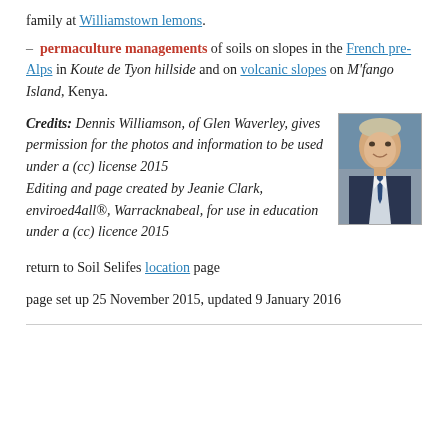family at Williamstown lemons.
– permaculture managements of soils on slopes in the French pre-Alps in Koute de Tyon hillside and on volcanic slopes on M'fango Island, Kenya.
Credits: Dennis Williamson, of Glen Waverley, gives permission for the photos and information to be used under a (cc) license 2015 Editing and page created by Jeanie Clark, enviroed4all®, Warracknabeal, for use in education under a (cc) licence 2015
[Figure (photo): Portrait photo of Dennis Williamson, a middle-aged man in a suit and tie, smiling.]
return to Soil Selifes location page
page set up 25 November 2015, updated 9 January 2016